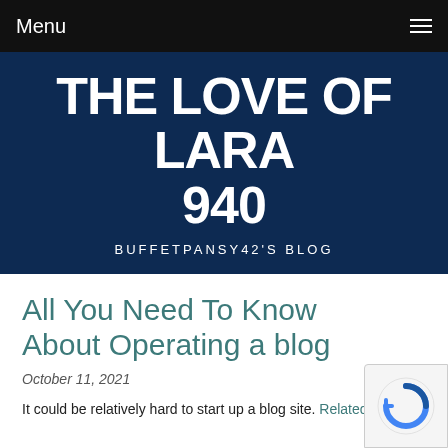Menu
THE LOVE OF LARA 940
BUFFETPANSY42'S BLOG
All You Need To Know About Operating a blog
October 11, 2021
It could be relatively hard to start up a blog site. Related Home